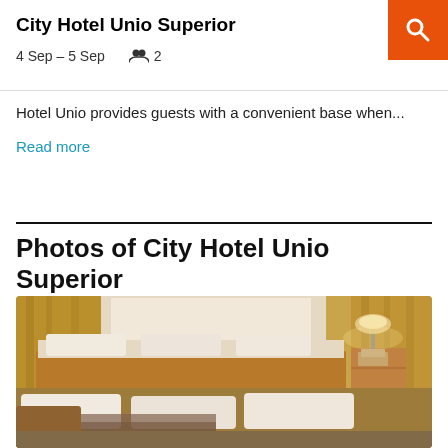City Hotel Unio Superior
4 Sep – 5 Sep   👥 2
Hotel Unio provides guests with a convenient base when...
Read more
Photos of City Hotel Unio Superior
[Figure (photo): Hotel room with two single beds with white pillows and bedding, wooden furniture, nightstand with lamp, curtains in background]